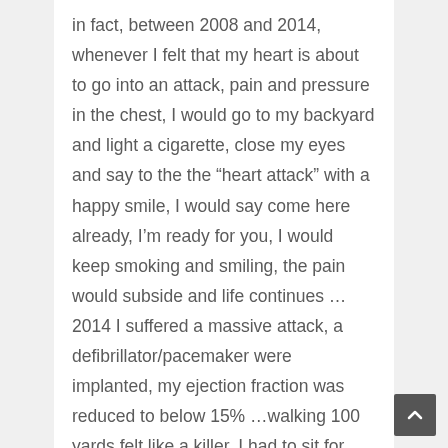in fact, between 2008 and 2014, whenever I felt that my heart is about to go into an attack, pain and pressure in the chest, I would go to my backyard and light a cigarette, close my eyes and say to the the “heart attack” with a happy smile, I would say come here already, I’m ready for you, I would keep smoking and smiling, the pain would subside and life continues …2014 I suffered a massive attack, a defibrillator/pacemaker were implanted, my ejection fraction was reduced to below 15% …walking 100 yards felt like a killer, I had to sit for several minutes on the sidewalk before I could walk again …I gave up, and